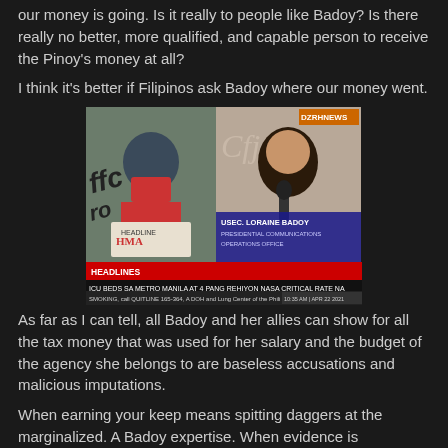our money is going. Is it really to people like Badoy? Is there really no better, more qualified, and capable person to receive the Pinoy's money at all?
I think it's better if Filipinos ask Badoy where our money went.
[Figure (screenshot): TV news screenshot showing DZRH NEWS broadcast with three panels: a reporter wearing mask on left, a woman speaking into microphone in center, and USEC. LORAINE BADOY labeled as PRESIDENTIAL COMMUNICATIONS OPERATIONS OFFICE on right. Headlines read: ICU BEDS SA METRO MANILA AT 4 PANG REHIYON NASA CRITICAL RATE NA. Bottom ticker: SMOKING, call QUITLINE 165-364, A DOH and Lung Center of the Phili... 10:35 AM | APR 22 2021]
As far as I can tell, all Badoy and her allies can show for all the tax money that was used for her salary and the budget of the agency she belongs to are baseless accusations and malicious imputations.
When earning your keep means spitting daggers at the marginalized. A Badoy expertise. When evidence is